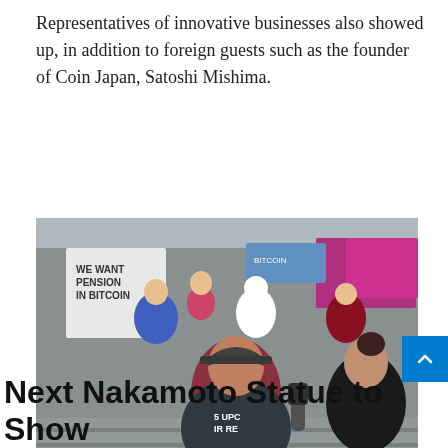Representatives of innovative businesses also showed up, in addition to foreign guests such as the founder of Coin Japan, Satoshi Mishima.
[Figure (photo): A man in a cap and puffer jacket being interviewed by a woman holding a microphone at an outdoor protest/rally. Behind them are protesters in costumes holding signs including one that reads 'WE WANT PENSION IN BITCOIN'. Pink and blue banners are visible in the background.]
Next Nakamoto Statue to Show